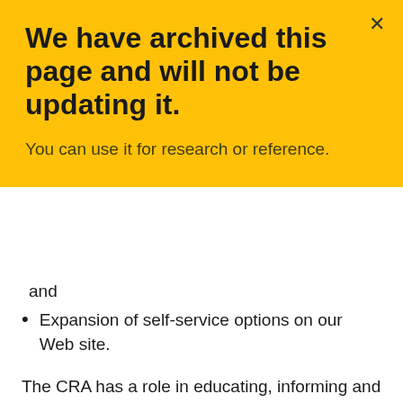We have archived this page and will not be updating it.
You can use it for research or reference.
and
Expansion of self-service options on our Web site.
The CRA has a role in educating, informing and raising awareness of charities and of their legal obligations among registered